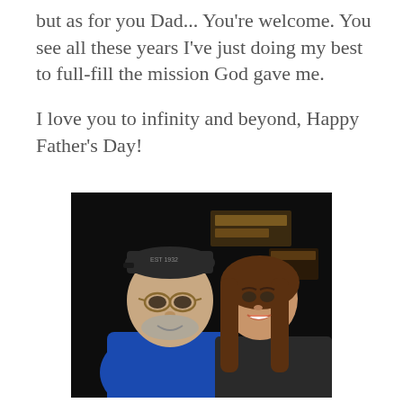but as for you Dad... You're welcome. You see all these years I've just doing my best to full-fill the mission God gave me.

I love you to infinity and beyond, Happy Father's Day!
[Figure (photo): A man wearing a dark baseball cap and blue jacket over a red shirt, with glasses and a grey beard, posing with a young woman with long brown hair, smiling, taken at night outdoors.]